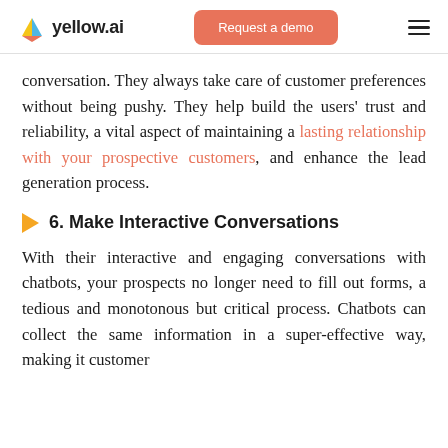yellow.ai | Request a demo
conversation. They always take care of customer preferences without being pushy. They help build the users' trust and reliability, a vital aspect of maintaining a lasting relationship with your prospective customers, and enhance the lead generation process.
6. Make Interactive Conversations
With their interactive and engaging conversations with chatbots, your prospects no longer need to fill out forms, a tedious and monotonous but critical process. Chatbots can collect the same information in a super-effective way, making it customer